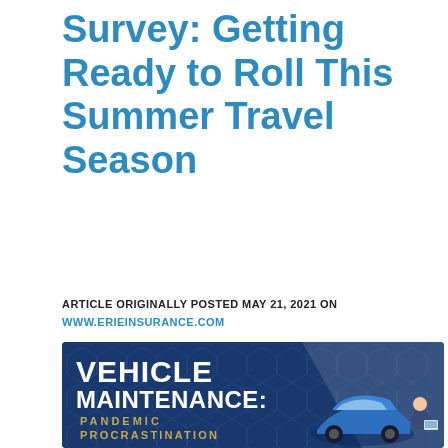Survey: Getting Ready to Roll This Summer Travel Season
ARTICLE ORIGINALLY POSTED MAY 21, 2021 ON WWW.ERIEINSURANCE.COM
[Figure (infographic): Dark blue infographic banner reading 'VEHICLE MAINTENANCE: PANDEMIC PROCRASTINATION' with a stylized blue car and a person holding a laptop, on a hexagonal pattern background.]